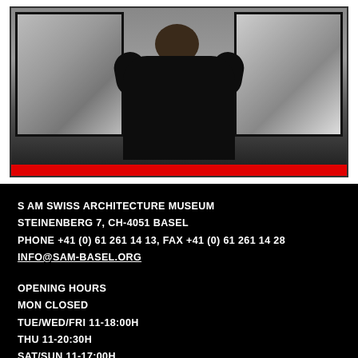[Figure (photo): A person in a black jacket viewed from behind, standing in front of large black-and-white photographic artworks mounted on a dark wall, with a bright red horizontal bar at the bottom of the image.]
S AM SWISS ARCHITECTURE MUSEUM
STEINENBERG 7, CH-4051 BASEL
PHONE +41 (0) 61 261 14 13, FAX +41 (0) 61 261 14 28
INFO@SAM-BASEL.ORG
OPENING HOURS
MON CLOSED
TUE/WED/FRI 11-18:00H
THU 11-20:30H
SAT/SUN 11-17:00H